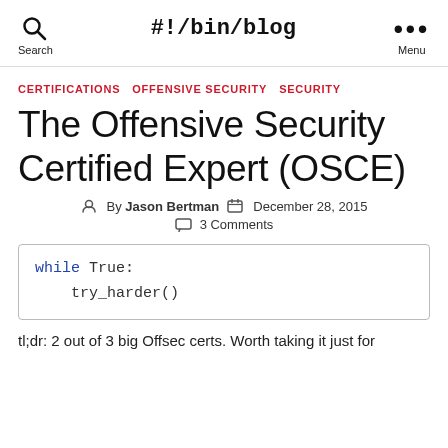#!/bin/blog
CERTIFICATIONS  OFFENSIVE SECURITY  SECURITY
The Offensive Security Certified Expert (OSCE)
By Jason Bertman  December 28, 2015  3 Comments
while True:
    try_harder()
tl;dr: 2 out of 3 big Offsec certs. Worth taking it just for